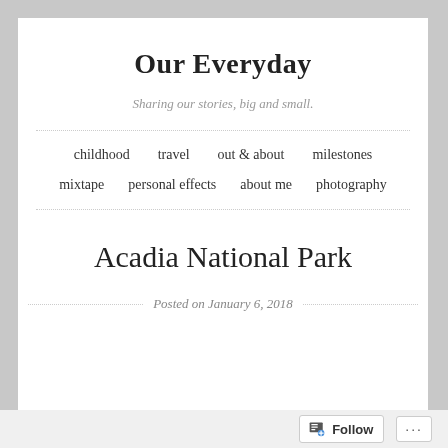Our Everyday
Sharing our stories, big and small.
childhood
travel
out & about
milestones
mixtape
personal effects
about me
photography
Acadia National Park
Posted on January 6, 2018